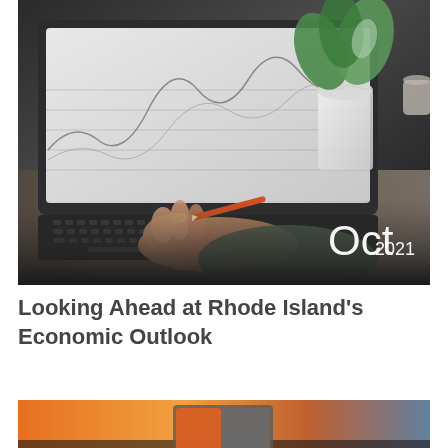[Figure (photo): Person's hand holding a pencil working on a laptop showing financial/stock charts, with a green plant in a white pot visible in the background. Date overlay reads 'Oct 2021' in the lower right corner.]
Looking Ahead at Rhode Island's Economic Outlook
[Figure (photo): Partial view of a person wearing an orange and grey jacket, cropped at the bottom of the page.]